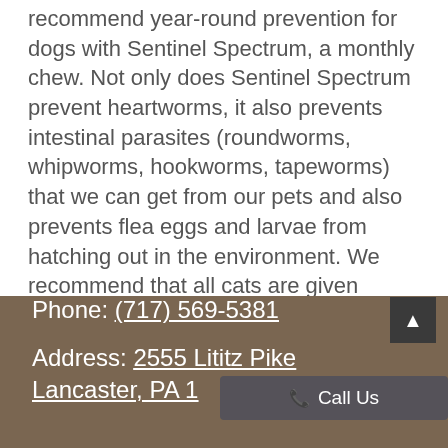recommend year-round prevention for dogs with Sentinel Spectrum, a monthly chew. Not only does Sentinel Spectrum prevent heartworms, it also prevents intestinal parasites (roundworms, whipworms, hookworms, tapeworms) that we can get from our pets and also prevents flea eggs and larvae from hatching out in the environment. We recommend that all cats are given Revolution to prevent heartworms, roundworms, hookworms, fleas, and ear mites.
Please ask our doctors about heartworm disease, prevention, testing, and treatment.
Phone: (717) 569-5381
Address: 2555 Lititz Pike Lancaster, PA 1...